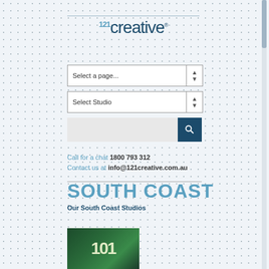[Figure (logo): 121creative logo with stylized text in dark blue/teal]
Select a page...
Select Studio
Call for a chat 1800 793 312
Contact us at info@121creative.com.au
SOUTH COAST
Our South Coast Studios
[Figure (photo): Partial photo showing the number 121 in large illuminated digits against a dark background]